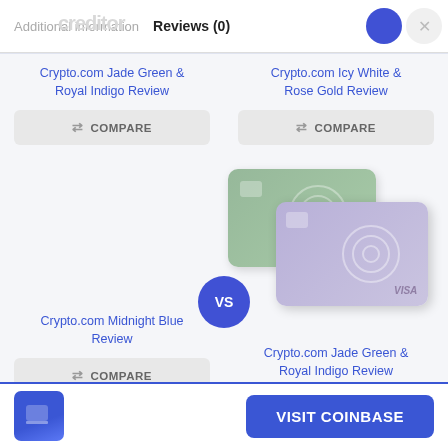Additional information   Reviews (0)
Crypto.com Jade Green & Royal Indigo Review
COMPARE
Crypto.com Icy White & Rose Gold Review
COMPARE
[Figure (illustration): Two overlapping Crypto.com Visa cards — one green (back) and one purple/lavender (front) with VISA text]
Crypto.com Midnight Blue Review
COMPARE
Crypto.com Jade Green & Royal Indigo Review
VISIT COINBASE